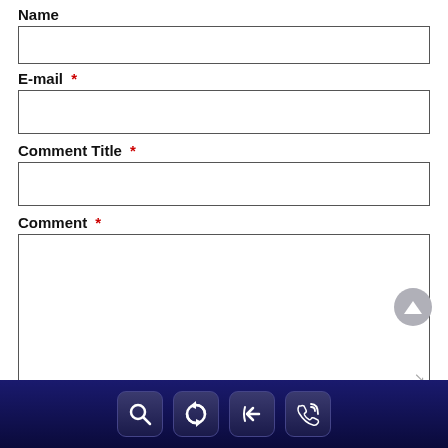Name
[Figure (screenshot): Empty text input field for Name]
E-mail *
[Figure (screenshot): Empty text input field for E-mail]
Comment Title *
[Figure (screenshot): Empty text input field for Comment Title]
Comment *
[Figure (screenshot): Empty large textarea for Comment]
1000 : Characters Left
Mandatory *
Terms of use
Navigation icons: search, refresh, back, call